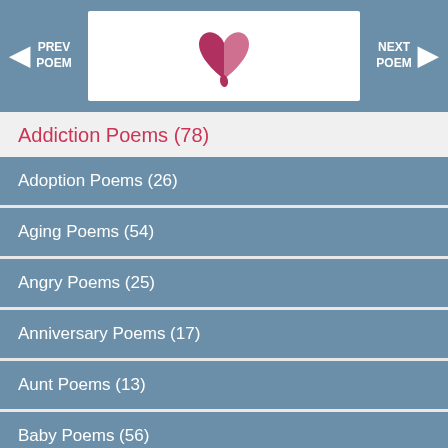PREV POEM | [logo] | NEXT POEM
Addiction Poems (78)
Adoption Poems (26)
Aging Poems (54)
Angry Poems (25)
Anniversary Poems (17)
Aunt Poems (13)
Baby Poems (56)
Birth Poems (12)
Birthday Family Poems (44)
Brother Poems (48)